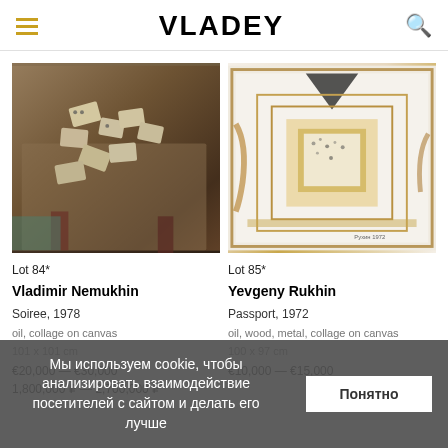VLADEY
[Figure (photo): Artwork by Vladimir Nemukhin: Soiree, 1978. Oil, collage on canvas, 101 x 101 cm. Dark tones with playing cards scattered on a table.]
[Figure (photo): Artwork by Yevgeny Rukhin: Passport, 1972. Oil, wood, metal, collage on canvas, 100 x 97 cm. Abstract geometric composition with golden and white tones.]
Lot 84*
Vladimir Nemukhin
Soiree, 1978
oil, collage on canvas
101 x 101 cm
€20,000 — €30,000
1,800,000 ₽ — 2,700,000 ₽
Lot 85*
Yevgeny Rukhin
Passport, 1972
oil, wood, metal, collage on canvas
100 x 97 cm
€10,000 — €15,000
Мы используем cookie, чтобы анализировать взаимодействие посетителей с сайтом и делать его лучше
Понятно